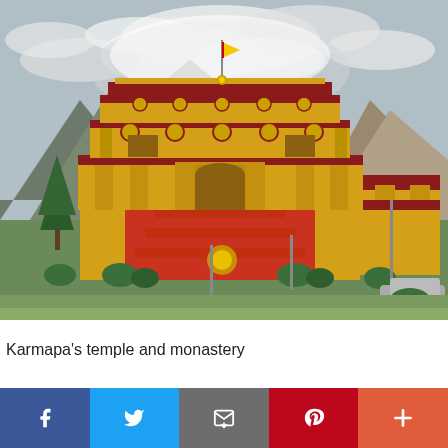[Figure (photo): A large Tibetan Buddhist temple and monastery with yellow walls and dark red/maroon decorative bands, gold ornaments, and red carpeted stairs leading to the entrance. A flag flies at the top. The building is set against a dramatic mountain backdrop with snow-capped peaks and a partly cloudy sky. Additional yellow monastery buildings are visible to the right. Trees and bushes surround the complex.]
Karmapa's temple and monastery